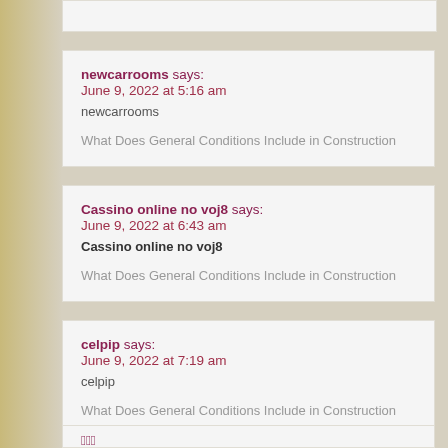newcarrooms says: June 9, 2022 at 5:16 am
newcarrooms
What Does General Conditions Include in Construction
Cassino online no voj8 says: June 9, 2022 at 6:43 am
Cassino online no voj8
What Does General Conditions Include in Construction
celpip says: June 9, 2022 at 7:19 am
celpip
What Does General Conditions Include in Construction